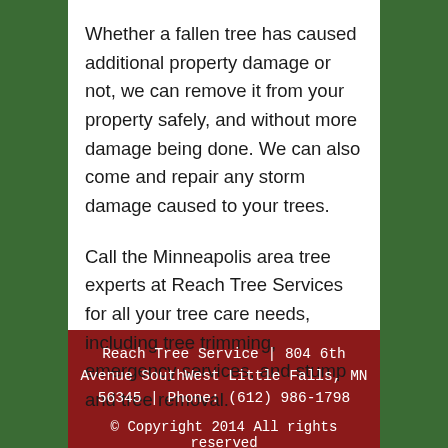Whether a fallen tree has caused additional property damage or not, we can remove it from your property safely, and without more damage being done. We can also come and repair any storm damage caused to your trees.
Call the Minneapolis area tree experts at Reach Tree Services for all your tree care needs, including tree trimming, emergency services, and stump and tree removal.
Reach Tree Service | 804 6th Avenue SouthWest Little Falls, MN 56345 | Phone: (612) 986-1798
© Copyright 2014 All rights reserved